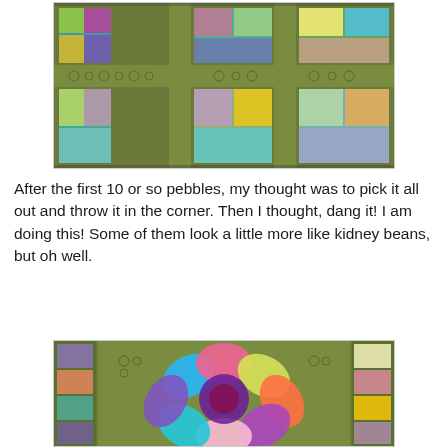[Figure (photo): Close-up photo of a patchwork quilt with colorful fabric squares and green sashing, showing quilted pebble texture on the green areas]
After the first 10 or so pebbles, my thought was to pick it all out and throw it in the corner.  Then I thought, dang it! I am doing this! Some of them look a little more like kidney beans, but oh well.
[Figure (photo): Close-up photo of a quilted block featuring a Dresden Plate or flower pattern made from colorful patterned fabric petals on a green background, with pebble quilting texture]